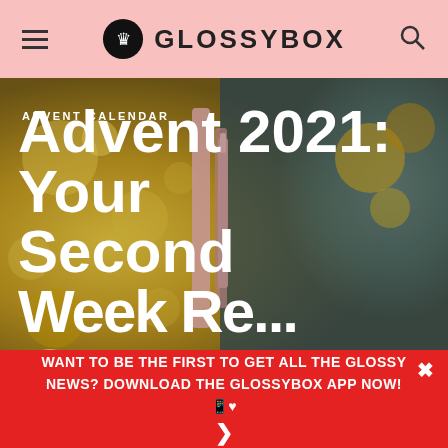GLOSSYBOX
[Figure (photo): Hero image showing beauty products including mascara wands and lip gloss tubes with pink ribbons against a golden bokeh background]
ADVENT CALENDAR
Advent 2021: Your Second Week Revealed
[Figure (photo): Circular author portrait of Maria Ortega, a young woman with dark hair]
Maria Ortega
Beauty Writer / 9 months ago
WANT TO BE THE FIRST TO GET ALL THE GLOSSY NEWS? DOWNLOAD THE GLOSSYBOX APP NOW! 📱♥